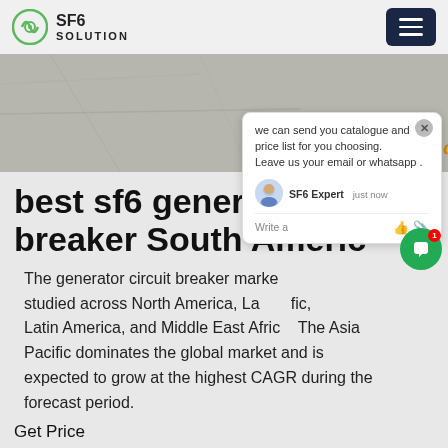SF6 SOLUTION
[Figure (photo): Gray stone/concrete surface background with 'SF6China' watermark in orange italic text at bottom right]
[Figure (screenshot): Chat popup widget with message: 'we can send you catalogue and price list for you choosing. Leave us your email or whatsapp .' with SF6 Expert agent, just now, and Write a message input area with thumbs up and paperclip icons]
best sf6 generator circuit breaker South America
The generator circuit breaker market is studied across North America, Europe, Asia Pacific, Latin America, and Middle East Africa. The Asia Pacific dominates the global market and is expected to grow at the highest CAGR during the forecast period.
Get Price